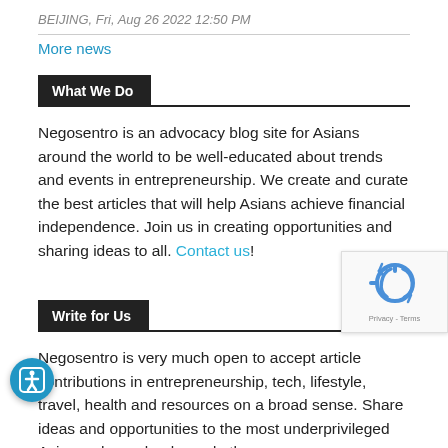BEIJING, Fri, Aug 26 2022 12:50 PM
More news
What We Do
Negosentro is an advocacy blog site for Asians around the world to be well-educated about trends and events in entrepreneurship. We create and curate the best articles that will help Asians achieve financial independence. Join us in creating opportunities and sharing ideas to all. Contact us!
Write for Us
Negosentro is very much open to accept article contributions in entrepreneurship, tech, lifestyle, travel, health and resources on a broad sense. Share ideas and opportunities to the most underprivileged Asians; share ebooks and other